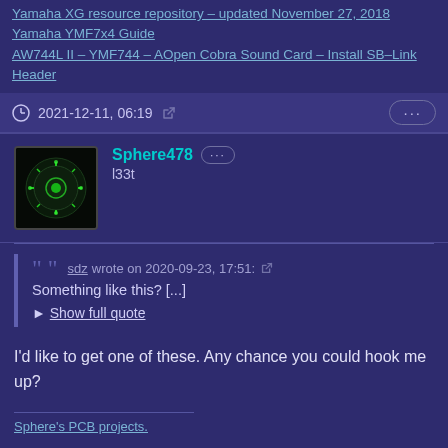Yamaha XG resource repository – updated November 27, 2018
Yamaha YMF7x4 Guide
AW744L II – YMF744 – AOpen Cobra Sound Card – Install SB–Link Header
2021-12-11, 06:19
Sphere478
l33t
sdz wrote on 2020-09-23, 17:51:
Something like this? [...]
Show full quote
I'd like to get one of these. Any chance you could hook me up?
Sphere's PCB projects.